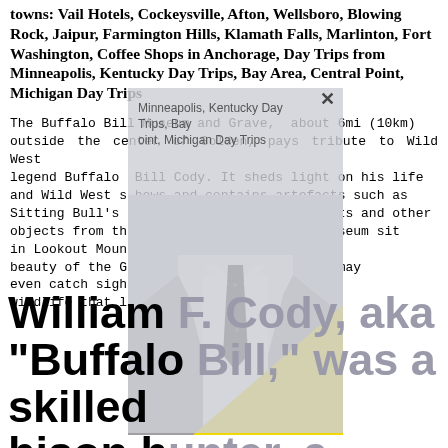towns: Vail Hotels, Cockeysville, Afton, Wellsboro, Blowing Rock, Jaipur, Farmington Hills, Klamath Falls, Marlinton, Fort Washington, Coffee Shops in Anchorage, Day Trips from Minneapolis, Kentucky Day Trips, Bay Area, Central Point, Michigan Day Trips
The Buffalo Bill Museum and Grave, about 6mi (10km) outside the center of Golden, pays tribute to Wild West legend Buffalo Bill Cody. It sheds light on his life and Wild West shows and contains artefacts such as Sitting Bull's bow and arrows, show outfits and other objects from the era. The grave and museum sit in Lookout Mountain Park, enhanced by the natural beauty of the Golden Gate Canyon. You may even catch sight of deer, wild turkeys and other wildlife that live in the park.
[Figure (photo): Photo of a man in a suit and tie, partially obscured by a gray overlay popup and a yellow triangle graphic element]
William F. Cody, aka "Buffalo Bill," was a skilled bison hunter, a scout for the U.S. Army during the Indian Wars, and a world-famous